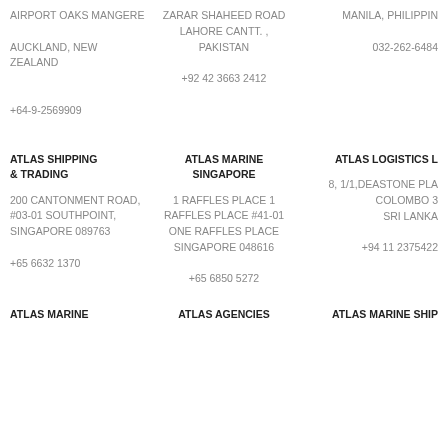AIRPORT OAKS MANGERE
AUCKLAND, NEW ZEALAND
+64-9-2569909
ZARAR SHAHEED ROAD LAHORE CANTT. , PAKISTAN
+92 42 3663 2412
MANILA, PHILIPPIN
032-262-6484
ATLAS SHIPPING & TRADING
ATLAS MARINE SINGAPORE
ATLAS LOGISTICS L
200 CANTONMENT ROAD, #03-01 SOUTHPOINT, SINGAPORE 089763
+65 6632 1370
1 RAFFLES PLACE 1 RAFFLES PLACE #41-01
ONE RAFFLES PLACE SINGAPORE 048616
+65 6850 5272
8, 1/1,DEASTONE PLA
COLOMBO 3
SRI LANKA
+94 11 2375422
ATLAS MARINE
ATLAS AGENCIES
ATLAS MARINE SHIP